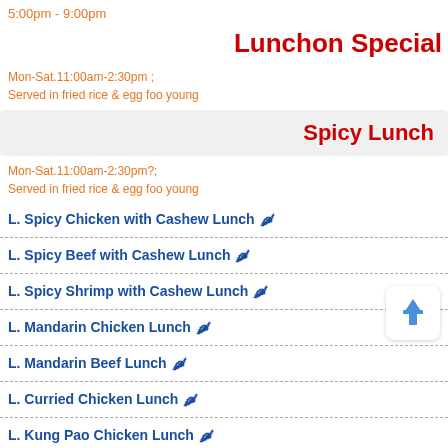5:00pm - 9:00pm
Lunchon Special
Mon-Sat.11:00am-2:30pm ;
Served in fried rice & egg foo young
Spicy Lunch
Mon-Sat.11:00am-2:30pm?;
Served in fried rice & egg foo young
L. Spicy Chicken with Cashew Lunch 🌶
L. Spicy Beef with Cashew Lunch 🌶
L. Spicy Shrimp with Cashew Lunch 🌶
L. Mandarin Chicken Lunch 🌶
L. Mandarin Beef Lunch 🌶
L. Curried Chicken Lunch 🌶
L. Kung Pao Chicken Lunch 🌶